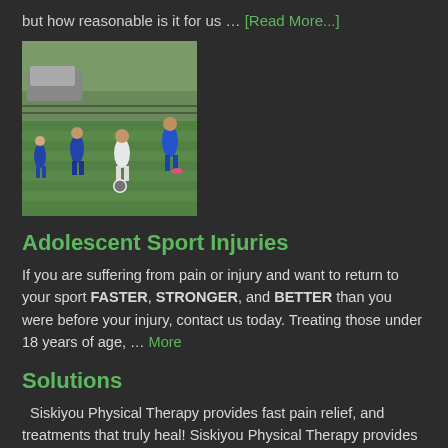but how reasonable is it for us … [Read More...]
[Figure (photo): Soccer players on a field during a game, wearing blue and white uniforms]
Adolescent Sport Injuries
If you are suffering from pain or injury and want to return to your sport FASTER, STRONGER, and BETTER than you were before your injury, contact us today. Treating those under 18 years of age, … More
Solutions
Siskiyou Physical Therapy provides fast pain relief, and treatments that truly heal! Siskiyou Physical Therapy provides